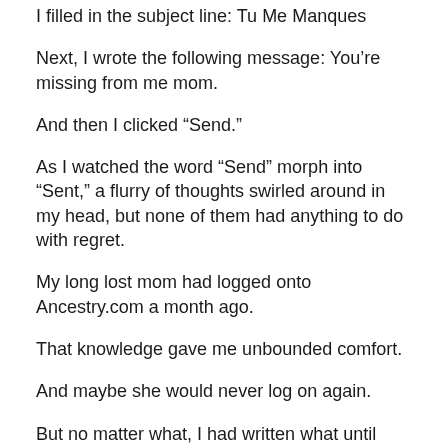I filled in the subject line: Tu Me Manques
Next, I wrote the following message: You’re missing from me mom.
And then I clicked “Send.”
As I watched the word “Send” morph into “Sent,” a flurry of thoughts swirled around in my head, but none of them had anything to do with regret.
My long lost mom had logged onto Ancestry.com a month ago.
That knowledge gave me unbounded comfort.
And maybe she would never log on again.
But no matter what, I had written what until recently